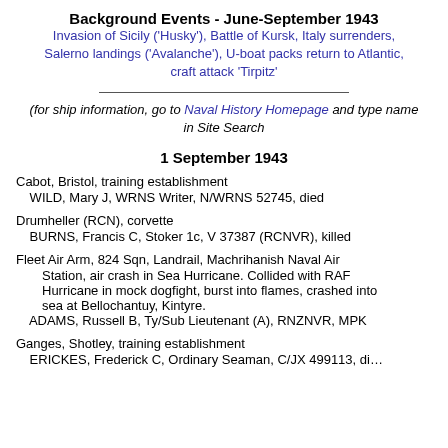Background Events - June-September 1943
Invasion of Sicily ('Husky'), Battle of Kursk, Italy surrenders, Salerno landings ('Avalanche'), U-boat packs return to Atlantic, craft attack 'Tirpitz'
(for ship information, go to Naval History Homepage and type name in Site Search
1 September 1943
Cabot, Bristol, training establishment
 WILD, Mary J, WRNS Writer, N/WRNS 52745, died
Drumheller (RCN), corvette
 BURNS, Francis C, Stoker 1c, V 37387 (RCNVR), killed
Fleet Air Arm, 824 Sqn, Landrail, Machrihanish Naval Air Station, air crash in Sea Hurricane. Collided with RAF Hurricane in mock dogfight, burst into flames, crashed into sea at Bellochantuy, Kintyre.
 ADAMS, Russell B, Ty/Sub Lieutenant (A), RNZNVR, MPK
Ganges, Shotley, training establishment
 ERICKES, Frederick C, Ordinary Seaman, C/JX 499113, di…